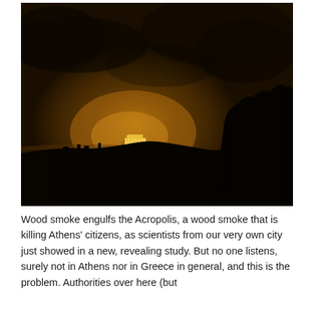[Figure (photo): Night photograph of Athens with wood smoke engulfing the Acropolis. The Acropolis is illuminated in the center of the image, glowing amber/yellow through a haze of smoke. The sky is dark brown-orange from smoke and light pollution. Black silhouettes of trees are visible on the right side and distant buildings on the horizon.]
Wood smoke engulfs the Acropolis, a wood smoke that is killing Athens' citizens, as scientists from our very own city just showed in a new, revealing study. But no one listens, surely not in Athens nor in Greece in general, and this is the problem. Authorities over here (but